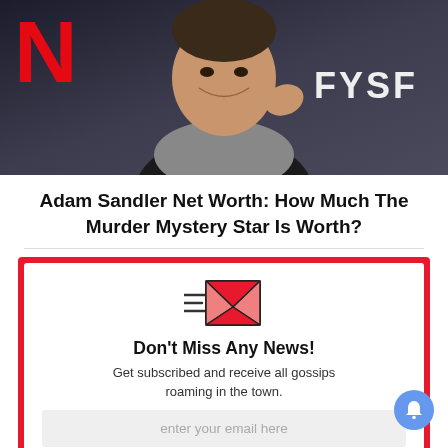[Figure (photo): Adam Sandler smiling at a Netflix FYSF event, wearing a yellow shirt and grey hoodie. Netflix red N logo visible on left, FYSF text on right.]
Adam Sandler Net Worth: How Much The Murder Mystery Star Is Worth?
[Figure (infographic): Newsletter subscription box with red border, envelope icon, heading 'Don't Miss Any News!', subtext 'Get subscribed and receive all gossips roaming in the town.', and email input field.]
Don't Miss Any News!
Get subscribed and receive all gossips roaming in the town.
enter your email here